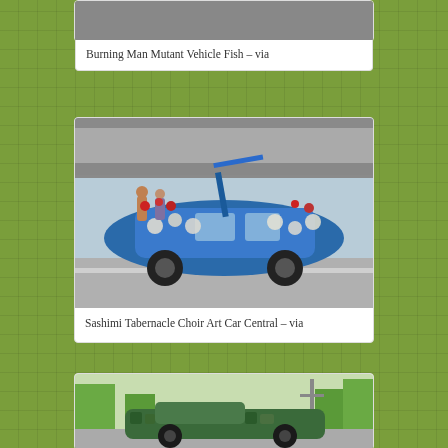[Figure (photo): Partial view of asphalt/ground surface - Burning Man Mutant Vehicle Fish]
Burning Man Mutant Vehicle Fish – via
[Figure (photo): A blue art car decorated with fish/white shapes driving under a highway overpass - Sashimi Tabernacle Choir Art Car Central]
Sashimi Tabernacle Choir Art Car Central – via
[Figure (photo): A green art car decorated with paint/sculpture in a rural setting with white fence and trees]